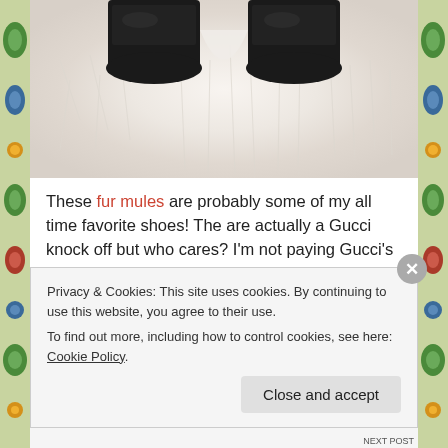[Figure (photo): Two black fur mules/loafers photographed from above on a white fluffy fur surface]
These fur mules are probably some of my all time favorite shoes! The are actually a Gucci knock off but who cares? I'm not paying Gucci's price so these puppies are just $24.99 at Target. I wore them last winter and they really keep your feet warm. If you aren't a fan of the fur, they carry the plain black and I like those just as well.
Privacy & Cookies: This site uses cookies. By continuing to use this website, you agree to their use.
To find out more, including how to control cookies, see here: Cookie Policy
Close and accept